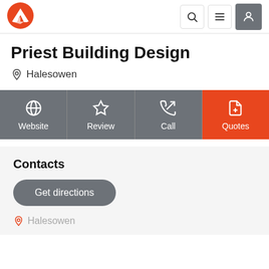[Figure (logo): Red and white angular logo icon in top-left navigation bar]
Priest Building Design
Halesowen
[Figure (infographic): Four action buttons: Website (globe icon), Review (star icon), Call (phone icon), Quotes (document icon, orange background)]
Contacts
Get directions
Halesowen